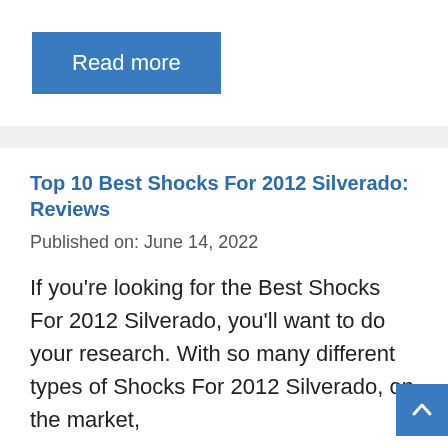[Figure (other): Blue 'Read more' button]
Top 10 Best Shocks For 2012 Silverado: Reviews
Published on: June 14, 2022
If you're looking for the Best Shocks For 2012 Silverado, you'll want to do your research. With so many different types of Shocks For 2012 Silverado, on the market,